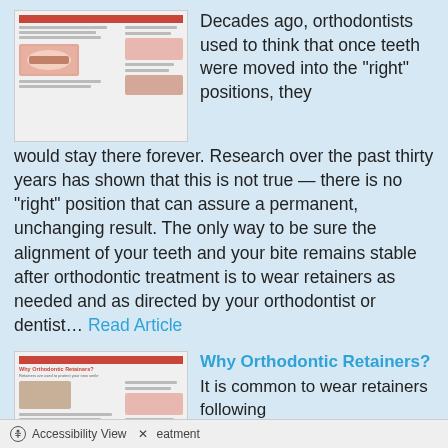[Figure (screenshot): Thumbnail of a dental/orthodontic article page showing braces and dental images with red header bar]
Decades ago, orthodontists used to think that once teeth were moved into the “right” positions, they would stay there forever. Research over the past thirty years has shown that this is not true — there is no “right” position that can assure a permanent, unchanging result. The only way to be sure the alignment of your teeth and your bite remains stable after orthodontic treatment is to wear retainers as needed and as directed by your orthodontist or dentist... Read Article
[Figure (screenshot): Thumbnail of 'Why Orthodontic Retainers?' article page with red header, photo of person sleeping, and dental images]
Why Orthodontic Retainers?
It is common to wear retainers following treatment
Accessibility View  X  eatment